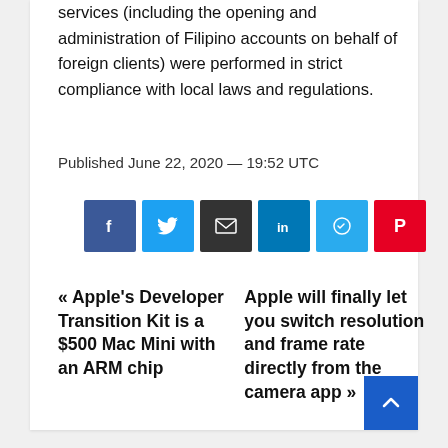services (including the opening and administration of Filipino accounts on behalf of foreign clients) were performed in strict compliance with local laws and regulations.
Published June 22, 2020 — 19:52 UTC
[Figure (other): Social sharing buttons: Facebook, Twitter, Email, LinkedIn, Telegram, Pinterest]
« Apple's Developer Transition Kit is a $500 Mac Mini with an ARM chip
Apple will finally let you switch resolution and frame rate directly from the camera app »